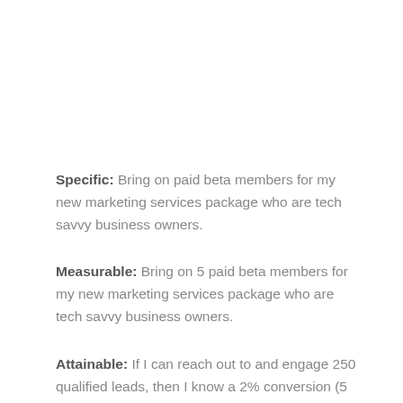Specific: Bring on paid beta members for my new marketing services package who are tech savvy business owners.
Measurable: Bring on 5 paid beta members for my new marketing services package who are tech savvy business owners.
Attainable: If I can reach out to and engage 250 qualified leads, then I know a 2% conversion (5 of 250) is attainable.